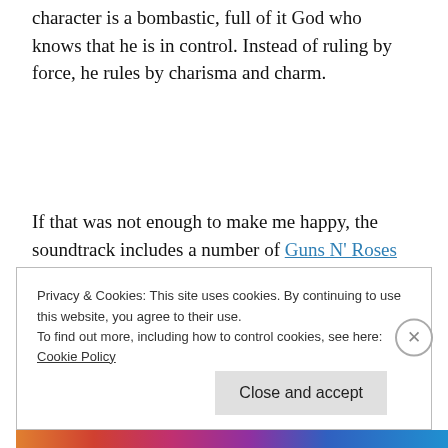character is a bombastic, full of it God who knows that he is in control. Instead of ruling by force, he rules by charisma and charm.
If that was not enough to make me happy, the soundtrack includes a number of Guns N' Roses songs. I couldn't help but sing along.
Privacy & Cookies: This site uses cookies. By continuing to use this website, you agree to their use.
To find out more, including how to control cookies, see here: Cookie Policy